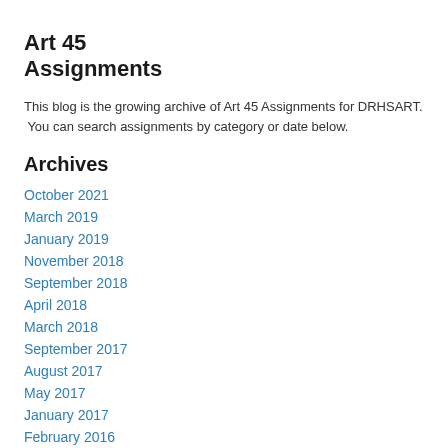Art 45 Assignments
This blog is the growing archive of Art 45 Assignments for DRHSART. You can search assignments by category or date below.
Archives
October 2021
March 2019
January 2019
November 2018
September 2018
April 2018
March 2018
September 2017
August 2017
May 2017
January 2017
February 2016
December 2015
September 2015